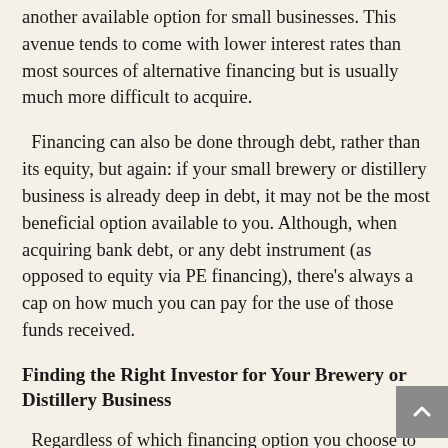another available option for small businesses. This avenue tends to come with lower interest rates than most sources of alternative financing but is usually much more difficult to acquire.
Financing can also be done through debt, rather than its equity, but again: if your small brewery or distillery business is already deep in debt, it may not be the most beneficial option available to you. Although, when acquiring bank debt, or any debt instrument (as opposed to equity via PE financing), there's always a cap on how much you can pay for the use of those funds received.
Finding the Right Investor for Your Brewery or Distillery Business
Regardless of which financing option you choose to go with when searching for additional growth capital, the most important factor to keep in mind is to find the specific